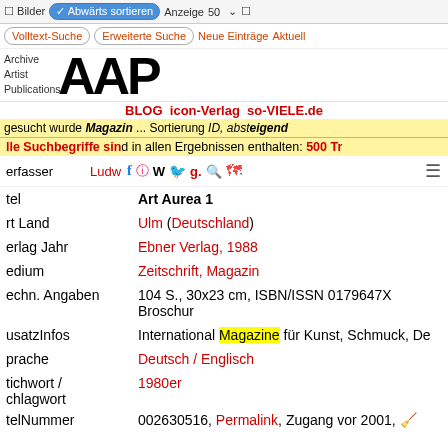Bilder | Abwärts sortieren | Anzeige 50
Volltext-Suche | Erweiterte Suche | Neue Einträge | Aktuell
[Figure (logo): AAP Archive Artist Publications logo with small text: Archive, Artist, Publications]
BLOG icon-Verlag so-VIELE.de
Gesucht wurde Magazin ... Sortierung ID, absteigend
Alle Suchbegriffe sind in allen Ergebnissen enthalten: 500 Treffer
| Field | Value |
| --- | --- |
| Verfasser | Ludwig Reh... g. |
| Titel | Art Aurea 1 |
| rt Land | Ulm (Deutschland) |
| Verlag Jahr | Ebner Verlag, 1988 |
| Medium | Zeitschrift, Magazin |
| Techn. Angaben | 104 S., 30x23 cm, ISBN/ISSN 0179647X Broschur |
| ZusatzInfos | International Magazine für Kunst, Schmuck, De... |
| Sprache | Deutsch / Englisch |
| Stichwort / Schlagwort | 1980er |
| TitelNummer | 002630516, Permalink, Zugang vor 2001, 🌶️ |